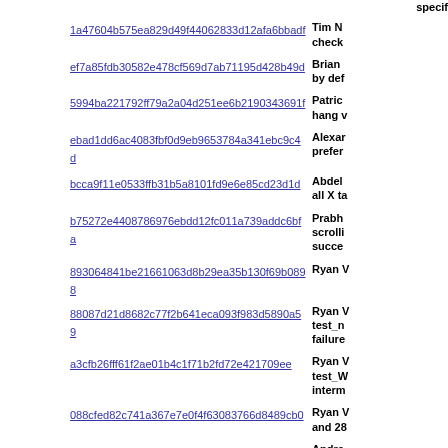specif...
1a47604b575ea829d49f44062833d12afa6bbadf | Tim N... check...
ef7a85fdb30582e478cf569d7ab71195d428b49d | Brian ... by def...
5994ba221792ff79a2a04d251ee6b2190343691f | Patric... hang v...
ebad1dd6ac4083fbf0d9eb9653784a341ebc9c4d | Alexar... prefer...
bcca9f11e0533ffb31b5a8101fd9e6e85cd23d1d | Abdel... all X ta...
b75272e4408786976ebdd12fc011a739addc6bfa | Prabh... scrolli... succe...
893064841be21661063d8b29ea35b130f69b0898 | Ryan V...
88087d21d8682c77f2b641eca093f983d5890a59 | Ryan V... test_n... failure...
a3cfb26fff61f2ae01b4c1f71b2fd72e421709ee | Ryan V... test_W... interm...
088cfed82c741a367e7e0f4f63083766d8489cb0 | Ryan V... and 28...
5f429eb915588e9551fb1168d5f2920d7e0e09c8 | Andre... dom.v... worke...
b1b9af321bac85386bac98a3b7f17c1e70ad3c83 | Jan Be... on Fre...